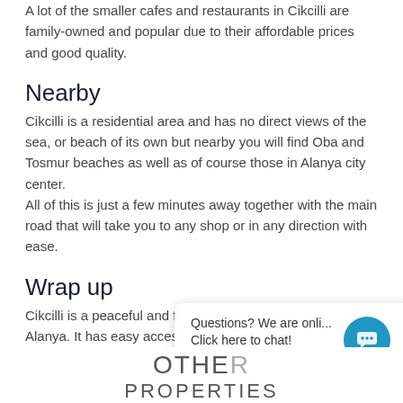A lot of the smaller cafes and restaurants in Cikcilli are family-owned and popular due to their affordable prices and good quality.
Nearby
Cikcilli is a residential area and has no direct views of the sea, or beach of its own but nearby you will find Oba and Tosmur beaches as well as of course those in Alanya city center. All of this is just a few minutes away together with the main road that will take you to any shop or in any direction with ease.
Wrap up
Cikcilli is a peaceful and fairly new residential area of Alanya. It has easy access to shops, restaurants and everything else needed for daily life. It is located within just a short distance to the beach, city center of Alanya and with good infrastructure.
Questions? We are onli...
Click here to chat!
OTHER PROPERTIES